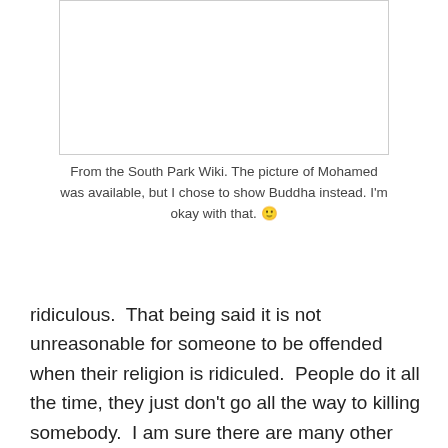[Figure (photo): White/blank image box from the South Park Wiki, showing Buddha instead of Mohamed]
From the South Park Wiki. The picture of Mohamed was available, but I chose to show Buddha instead. I'm okay with that. 🙂
ridiculous.  That being said it is not unreasonable for someone to be offended when their religion is ridiculed.  People do it all the time, they just don't go all the way to killing somebody.  I am sure there are many other moderate and peaceful Muslims who were offended by Charlie Hebdo or the Danish cartoons previously.  And of course some number close to 100%